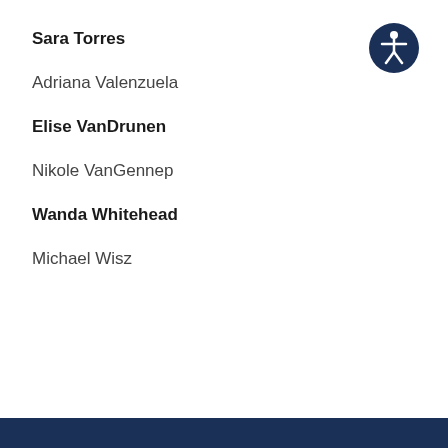Sara Torres
[Figure (illustration): Accessibility icon: white stick figure person inside a dark blue circle]
Adriana Valenzuela
Elise VanDrunen
Nikole VanGennep
Wanda Whitehead
Michael Wisz